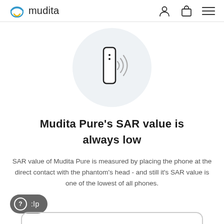mudita
[Figure (illustration): A phone emitting wireless signal waves icon inside a light gray circle]
Mudita Pure's SAR value is always low
SAR value of Mudita Pure is measured by placing the phone at the direct contact with the phantom's head - and still it's SAR value is one of the lowest of all phones.